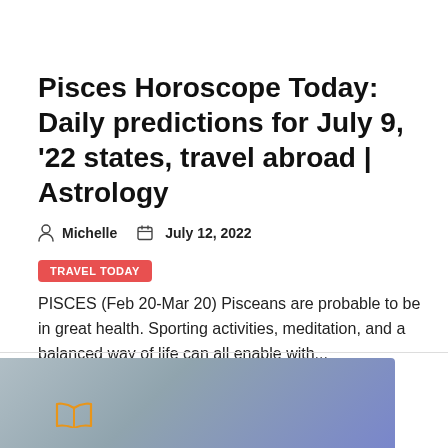Pisces Horoscope Today: Daily predictions for July 9, '22 states, travel abroad | Astrology
Michelle   July 12, 2022
TRAVEL TODAY
PISCES (Feb 20-Mar 20) Pisceans are probable to be in great health. Sporting activities, meditation, and a balanced way of life can all enable with...
[Figure (other): Partial image at bottom of page showing a gradient blue-grey background with an orange book/reading icon in the lower left]